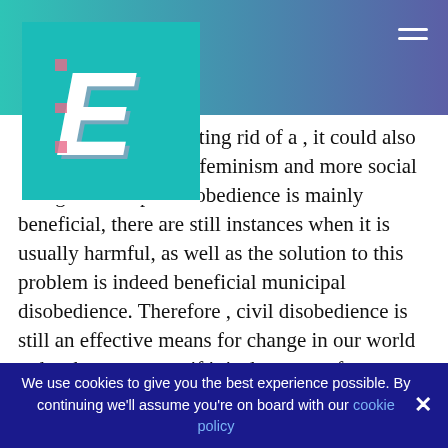[Figure (logo): 3D block letter E logo in white on teal square background]
sm be superior by getting rid of a , it could also bring about a better f feminism and more social though municipal disobedience is mainly beneficial, there are still instances when it is usually harmful, as well as the solution to this problem is indeed beneficial municipal disobedience. Therefore , civil disobedience is still an effective means for change in our world today, because even if it is dangerous for interpersonal progress it is usually remedied with beneficial detrimental disobedience.
Without city disobedience the earth would be a whole lot worse off than it is now and social improvement
We use cookies to give you the best experience possible. By continuing we'll assume you're on board with our cookie policy